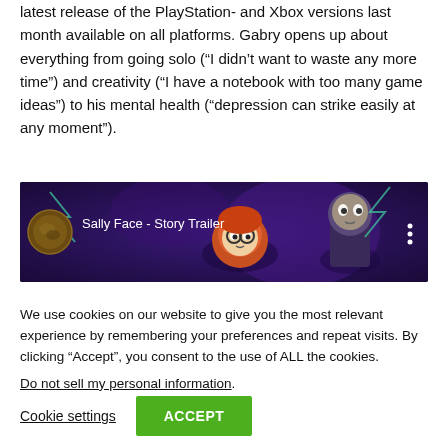latest release of the PlayStation- and Xbox versions last month available on all platforms. Gabry opens up about everything from going solo (“I didn’t want to waste any more time”) and creativity (“I have a notebook with too many game ideas”) to his mental health (“depression can strike easily at any moment”).
[Figure (screenshot): YouTube video thumbnail for 'Sally Face - Story Trailer' showing cartoon characters on a dark purple background with a channel icon on the left and a three-dot menu icon on the right.]
We use cookies on our website to give you the most relevant experience by remembering your preferences and repeat visits. By clicking “Accept”, you consent to the use of ALL the cookies.
Do not sell my personal information.
Cookie settings
ACCEPT